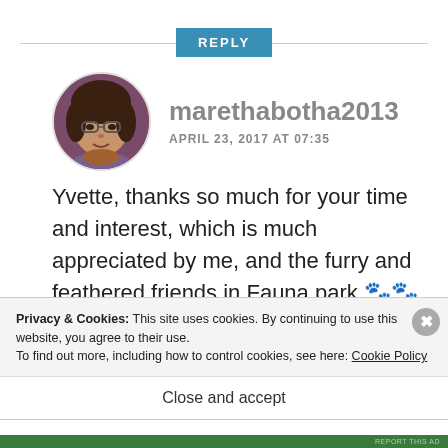REPLY
[Figure (photo): Circular avatar photo of a woman with glasses and brown hair]
marethabotha2013
APRIL 23, 2017 AT 07:35
Yvette, thanks so much for your time and interest, which is much appreciated by me, and the furry and feathered friends in Fauna park 🐾🐾🐾🐾🐾
Privacy & Cookies: This site uses cookies. By continuing to use this website, you agree to their use.
To find out more, including how to control cookies, see here: Cookie Policy
Close and accept